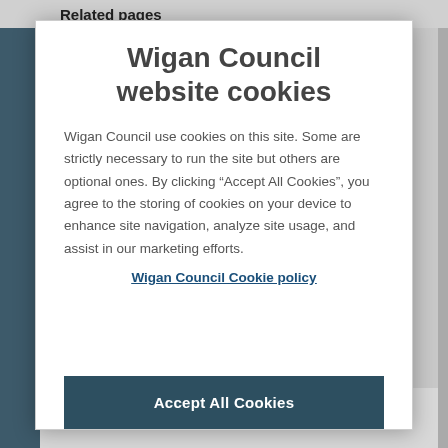Related pages
Wigan Council website cookies
Wigan Council use cookies on this site. Some are strictly necessary to run the site but others are optional ones. By clicking “Accept All Cookies”, you agree to the storing of cookies on your device to enhance site navigation, analyze site usage, and assist in our marketing efforts.
Wigan Council Cookie policy
Accept All Cookies
The Deal
More about it...